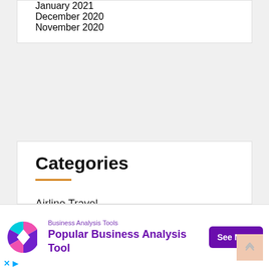January 2021
December 2020
November 2020
Categories
Airline Travel
Budget Travel
Destination Tips
Hotels
[Figure (infographic): Advertisement banner for Business Analysis Tools featuring a colorful logo, text 'Popular Business Analysis Tool', a 'See More' button, and small X and play icons at the bottom left.]